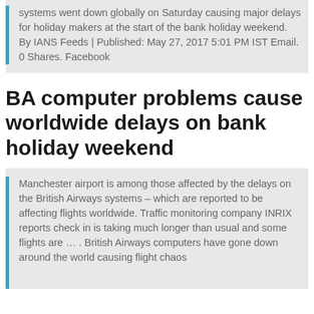systems went down globally on Saturday causing major delays for holiday makers at the start of the bank holiday weekend. By IANS Feeds | Published: May 27, 2017 5:01 PM IST Email. 0 Shares. Facebook
BA computer problems cause worldwide delays on bank holiday weekend
Manchester airport is among those affected by the delays on the British Airways systems – which are reported to be affecting flights worldwide. Traffic monitoring company INRIX reports check in is taking much longer than usual and some flights are … . British Airways computers have gone down around the world causing flight chaos